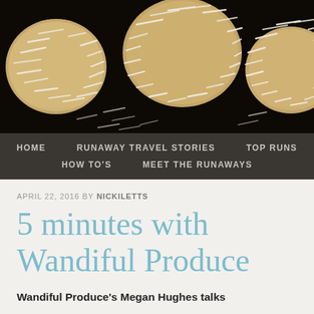[Figure (photo): Close-up photo of coconut energy balls/bliss balls coated in shredded coconut, on a dark background]
HOME   RUNAWAY TRAVEL STORIES   TOP RUNS   HOW TO'S   MEET THE RUNAWAYS
APRIL 22, 2016 BY NICKILETTS
5 minutes with Wandiful Produce
Wandiful Produce's Megan Hughes talks